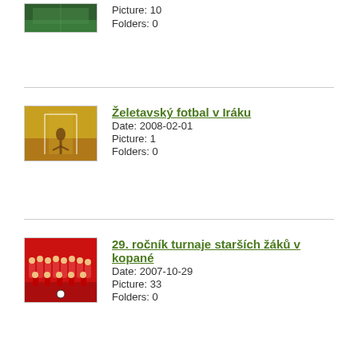[Figure (photo): Thumbnail of indoor sports hall or green field, partially visible at top]
Picture: 10
Folders: 0
[Figure (photo): Thumbnail of indoor football/soccer scene with player near goal]
Želetavský fotbal v Iráku
Date: 2008-02-01
Picture: 1
Folders: 0
[Figure (photo): Thumbnail of red-uniformed youth football team posed for group photo]
29. ročník turnaje starších žáků v kopané
Date: 2007-10-29
Picture: 33
Folders: 0